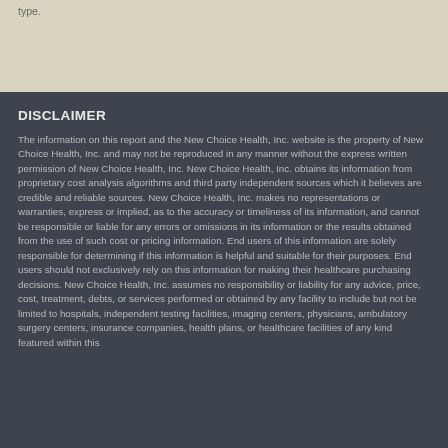type.
DISCLAIMER
The information on this report and the New Choice Health, Inc. website is the property of New Choice Health, Inc. and may not be reproduced in any manner without the express written permission of New Choice Health, Inc. New Choice Health, Inc. obtains its information from proprietary cost analysis algorithms and third party independent sources which it believes are credible and reliable sources. New Choice Health, Inc. makes no representations or warranties, express or implied, as to the accuracy or timeliness of its information, and cannot be responsible or liable for any errors or omissions in its information or the results obtained from the use of such cost or pricing information. End users of this information are solely responsible for determining if this information is helpful and suitable for their purposes. End users should not exclusively rely on this information for making their healthcare purchasing decisions. New Choice Health, Inc. assumes no responsibility or liability for any advice, price, cost, treatment, debts, or services performed or obtained by any facility to include but not be limited to hospitals, independent testing facilities, imaging centers, physicians, ambulatory surgery centers, insurance companies, health plans, or healthcare facilities of any kind featured within this